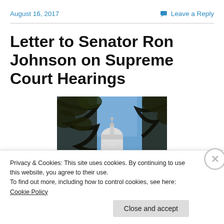August 16, 2017
Leave a Reply
Letter to Senator Ron Johnson on Supreme Court Hearings
[Figure (photo): Photo of the US Capitol dome seen through tree branches against a blue sky]
Privacy & Cookies: This site uses cookies. By continuing to use this website, you agree to their use.
To find out more, including how to control cookies, see here: Cookie Policy